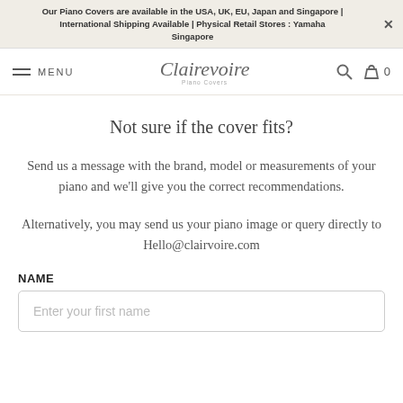Our Piano Covers are available in the USA, UK, EU, Japan and Singapore | International Shipping Available | Physical Retail Stores : Yamaha Singapore
[Figure (logo): Clairevoire logo with navigation bar including hamburger menu, search icon, and cart icon showing 0 items]
Not sure if the cover fits?
Send us a message with the brand, model or measurements of your piano and we'll give you the correct recommendations.
Alternatively, you may send us your piano image or query directly to Hello@clairvoire.com
NAME
Enter your first name